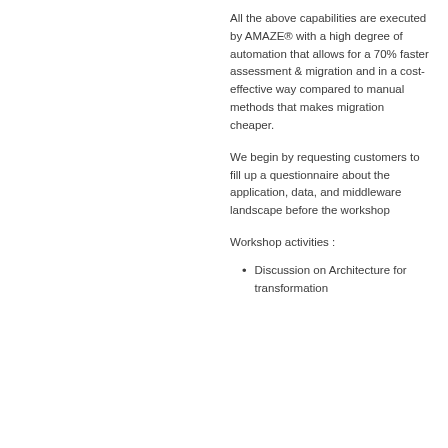All the above capabilities are executed by AMAZE® with a high degree of automation that allows for a 70% faster assessment & migration and in a cost-effective way compared to manual methods that makes migration cheaper.
We begin by requesting customers to fill up a questionnaire about the application, data, and middleware landscape before the workshop
Workshop activities :
Discussion on Architecture for transformation